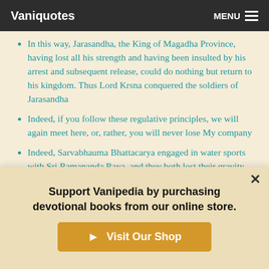Vaniquotes  MENU
In this way, Jarasandha, the King of Magadha Province, having lost all his strength and having been insulted by his arrest and subsequent release, could do nothing but return to his kingdom. Thus Lord Krsna conquered the soldiers of Jarasandha
Indeed, if you follow these regulative principles, we will again meet here, or, rather, you will never lose My company
Indeed, Sarvabhauma Bhattacarya engaged in water sports with Sri Ramananda Raya, and they both lost their gravity and became like children
Support Vanipedia by purchasing devotional books from our online store.
Visit Our Shop